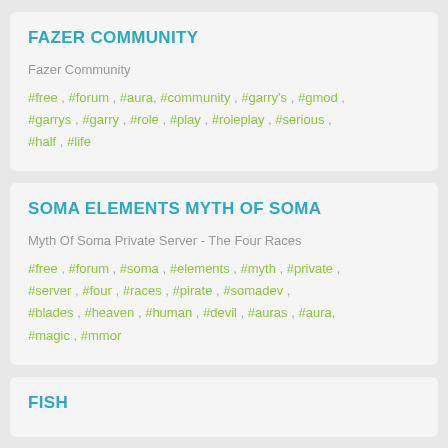FAZER COMMUNITY
Fazer Community
#free , #forum , #aura, #community , #garry's , #gmod , #garrys , #garry , #role , #play , #roleplay , #serious , #half , #life
SOMA ELEMENTS MYTH OF SOMA
Myth Of Soma Private Server - The Four Races
#free , #forum , #soma , #elements , #myth , #private , #server , #four , #races , #pirate , #somadev , #blades , #heaven , #human , #devil , #auras , #aura, #magic , #mmor
FISH